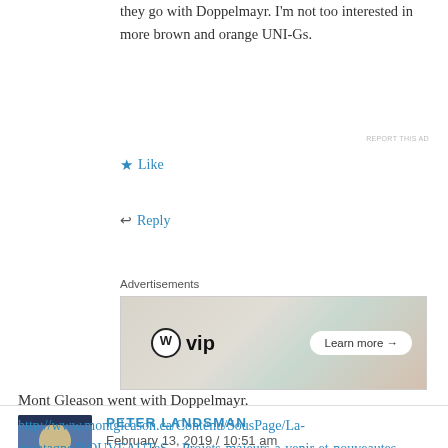they go with Doppelmayr. I'm not too interested in more brown and orange UNI-Gs.
★ Like
↩ Reply
Advertisements
[Figure (infographic): WordPress VIP advertisement banner with 'WVip' logo and 'Learn more →' button on a collage background]
PETER LANDSMAN
February 13, 2019 / 10:51 am
Mont Gleason went with Doppelmayr.
http://www.montgleason.ca/Contenu/SousPage/La-montagne/NOUVEAUTeS—Projets-majeurs-a-venir-et-nouveautes-pour-la-saison...